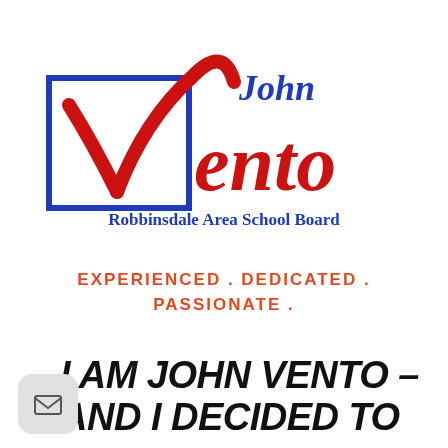[Figure (logo): John Vento campaign logo for Robbinsdale Area School Board. Large red stylized 'Vento' with checkmark-shaped 'V' inside a blue outlined square. 'John' in blue above, 'Robbinsdale Area School Board' in blue below.]
EXPERIENCED . DEDICATED . PASSIONATE .
I AM JOHN VENTO – AND I DECIDED TO